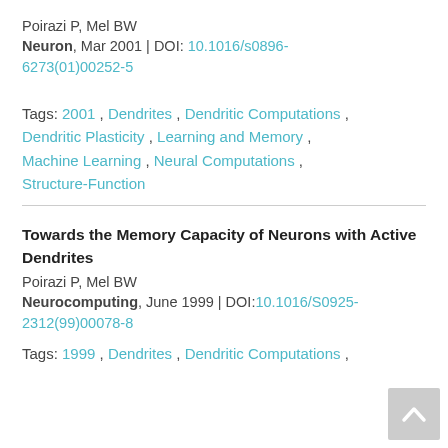Poirazi P, Mel BW
Neuron, Mar 2001 | DOI: 10.1016/s0896-6273(01)00252-5
Tags: 2001 , Dendrites , Dendritic Computations , Dendritic Plasticity , Learning and Memory , Machine Learning , Neural Computations , Structure-Function
Towards the Memory Capacity of Neurons with Active Dendrites
Poirazi P, Mel BW
Neurocomputing, June 1999 | DOI:10.1016/S0925-2312(99)00078-8
Tags: 1999 , Dendrites , Dendritic Computations ,